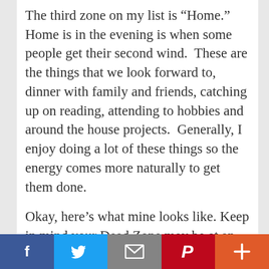The third zone on my list is “Home.” Home is in the evening is when some people get their second wind.  These are the things that we look forward to, dinner with family and friends, catching up on reading, attending to hobbies and around the house projects.  Generally, I enjoy doing a lot of these things so the energy comes more naturally to get them done.
Okay, here’s what mine looks like. Keep in mind your Dead Zone may be at an entirely different time of the day. I plugged in a few
[Figure (other): Social sharing bar with five buttons: Facebook (blue, f icon), Twitter (light blue, bird icon), Email (gray, envelope icon), Pinterest (red, P icon), More (orange, + icon)]